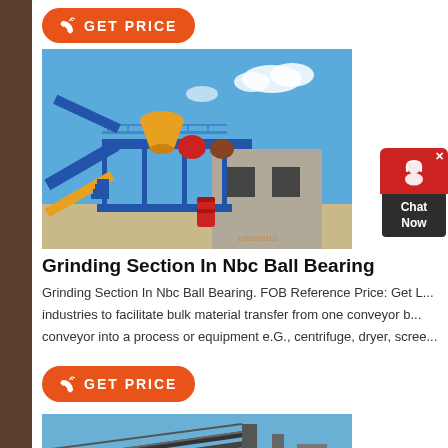[Figure (other): Orange GET PRICE button with phone icon]
[Figure (photo): Industrial mining/crushing plant with blue steel structure, yellow cone crusher, conveyor belts against blue sky. Dated 10/28/2012.]
Grinding Section In Nbc Ball Bearing
Grinding Section In Nbc Ball Bearing. FOB Reference Price: Get L... industries to facilitate bulk material transfer from one conveyor b... conveyor into a process or equipment e.G., centrifuge, dryer, scree...
[Figure (other): Orange GET PRICE button with phone icon (second instance)]
[Figure (photo): Industrial conveyor belt structure against blue sky (partially visible, bottom of page)]
[Figure (other): Chat Now widget on right side - red circle with headset icon, dark Chat Now label]